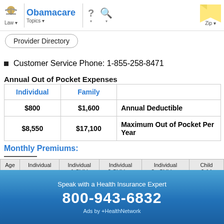Obamacare Topics | Law | Zip
Customer Service Phone: 1-855-258-8471
Annual Out of Pocket Expenses
| Individual | Family |  |
| --- | --- | --- |
| $800 | $1,600 | Annual Deductible |
| $8,550 | $17,100 | Maximum Out of Pocket Per Year |
Monthly Premiums:
| Age | Individual | Individual 1 Child | Individual 2 Children | Individual 3+ Children | Child 0-14 |
| --- | --- | --- | --- | --- | --- |
| 21 | $436.85 | $769.62 | $1,103.81 | $1,436.78 | $333.58 |
Speak with a Health Insurance Expert
800-943-6832
Ads by +HealthNetwork